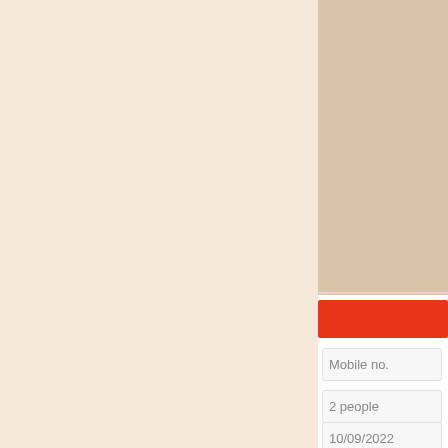[Figure (other): Left panel with light beige/cream background color fill]
[Figure (other): Right panel top section with darker tan/beige background color fill]
[Figure (other): Red bar UI element, likely a button or header bar]
Mobile no.
2 people
10/09/2022